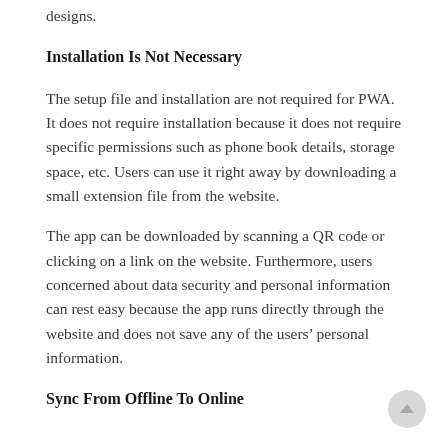designs.
Installation Is Not Necessary
The setup file and installation are not required for PWA. It does not require installation because it does not require specific permissions such as phone book details, storage space, etc. Users can use it right away by downloading a small extension file from the website.
The app can be downloaded by scanning a QR code or clicking on a link on the website. Furthermore, users concerned about data security and personal information can rest easy because the app runs directly through the website and does not save any of the users’ personal information.
Sync From Offline To Online